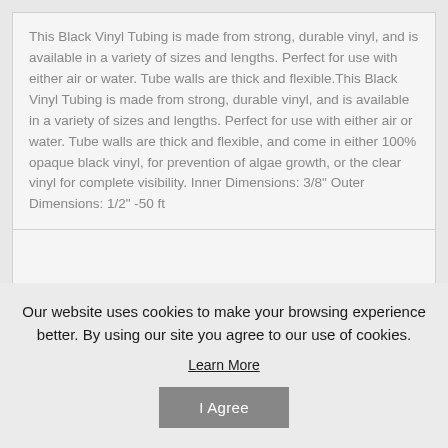This Black Vinyl Tubing is made from strong, durable vinyl, and is available in a variety of sizes and lengths. Perfect for use with either air or water. Tube walls are thick and flexible.This Black Vinyl Tubing is made from strong, durable vinyl, and is available in a variety of sizes and lengths. Perfect for use with either air or water. Tube walls are thick and flexible, and come in either 100% opaque black vinyl, for prevention of algae growth, or the clear vinyl for complete visibility. Inner Dimensions: 3/8" Outer Dimensions: 1/2" -50 ft
Our website uses cookies to make your browsing experience better. By using our site you agree to our use of cookies.
Learn More
I Agree